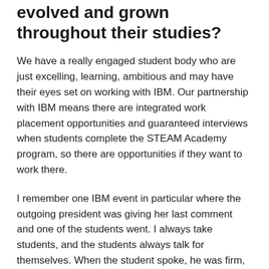evolved and grown throughout their studies?
We have a really engaged student body who are just excelling, learning, ambitious and may have their eyes set on working with IBM. Our partnership with IBM means there are integrated work placement opportunities and guaranteed interviews when students complete the STEAM Academy program, so there are opportunities if they want to work there.
I remember one IBM event in particular where the outgoing president was giving her last comment and one of the students went. I always take students, and the students always talk for themselves. When the student spoke, he was firm, confident and said, “this is what I’m doing, this is what I’m capable of and this is what I’m going to do in the future.” The Canadian president said that’s the best job interview they had ever experienced and the audience just